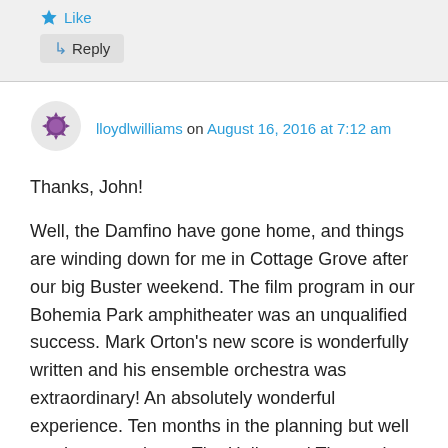Like
↳ Reply
lloydlwilliams on August 16, 2016 at 7:12 am
Thanks, John!

Well, the Damfino have gone home, and things are winding down for me in Cottage Grove after our big Buster weekend. The film program in our Bohemia Park amphitheater was an unqualified success. Mark Orton's new score is wonderfully written and his ensemble orchestra was extraordinary! An absolutely wonderful experience. Ten months in the planning but well worth every minute. The Hollywood Theatre in Portland sold out for the second time and is